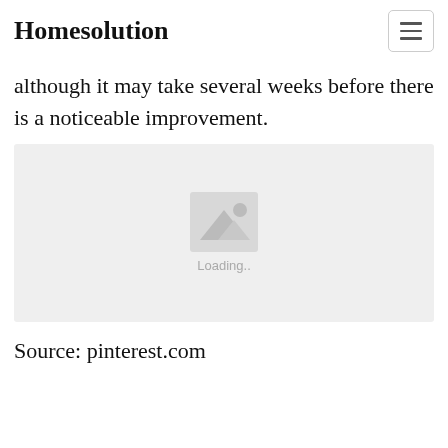Homesolution
although it may take several weeks before there is a noticeable improvement.
[Figure (photo): Image placeholder with loading indicator showing a mountain/image icon and 'Loading..' text on a grey background]
Source: pinterest.com